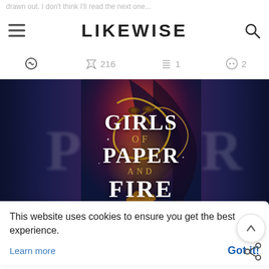drawn out. I don't think I'll read the next one...
LIKEWISE
216  1  2
[Figure (photo): Book cover for 'Girls of Paper and Fire' showing a woman's face partially obscured by golden swirling wind/fire, dark purple and red background. Flanked by blurred partial images of the same cover.]
This website uses cookies to ensure you get the best experience.
Learn more
Got it!